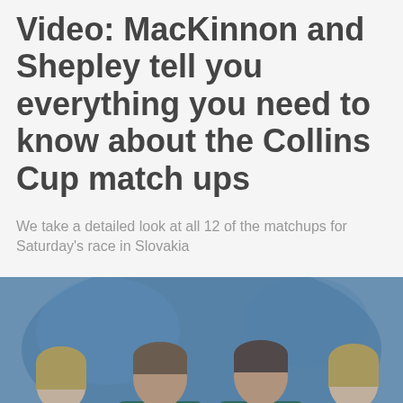Video: MacKinnon and Shepley tell you everything you need to know about the Collins Cup match ups
We take a detailed look at all 12 of the matchups for Saturday's race in Slovakia
[Figure (photo): Four athletes in green team polo shirts standing together and smiling, two men and two women, in a blue-tinted venue setting.]